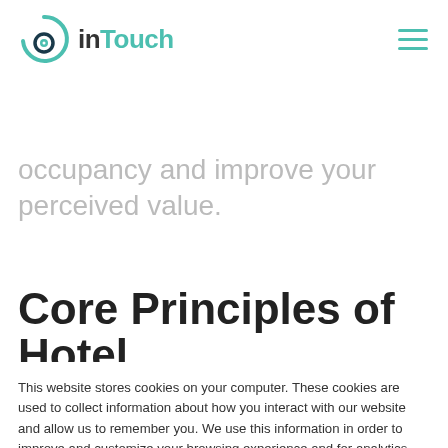inTouch
occupancy and improve your perceived value.
Core Principles of Hotel
This website stores cookies on your computer. These cookies are used to collect information about how you interact with our website and allow us to remember you. We use this information in order to improve and customize your browsing experience and for analytics and metrics about our visitors both on this website and other media. To find out more about the cookies we use, see our Privacy Policy
If you decline, your information won't be tracked when you visit this website. A single cookie will be used in your browser to remember your preference not to be tracked.